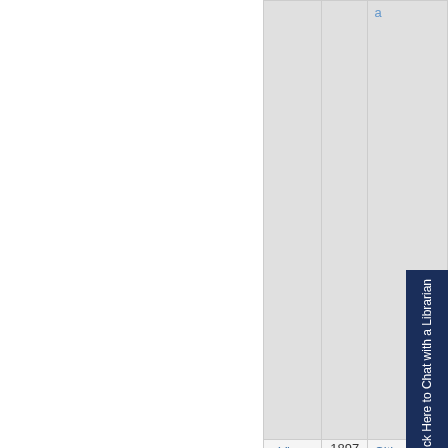|  |  |  |
| --- | --- | --- |
|  |  | a |
| View Entry | 1897 | Citizens Street Rail Road Company v. Richard |
[Figure (other): Dark navy blue vertical chat button with white rotated text reading 'Click Here to Chat with a Librarian']